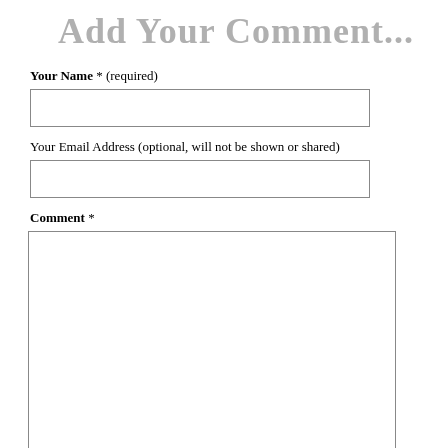Add Your Comment...
Your Name  *  (required)
[Figure (other): Text input field for Your Name]
Your Email Address  (optional, will not be shown or shared)
[Figure (other): Text input field for Your Email Address]
Comment  *
[Figure (other): Textarea for Comment]
Answer This Question  *
The name of Edward is?